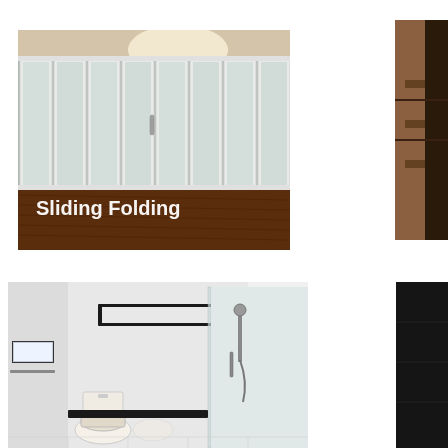[Figure (photo): Interior photo of sliding folding glass panel doors/partitions with white aluminum frames in a room with dark wooden floor and overhead lighting. White text overlay reads 'Sliding Folding'.]
[Figure (photo): Partial photo (right edge visible) showing interior with wooden railing or shelving unit, cropped at page edge.]
[Figure (photo): Interior photo of a bathroom with white walls, a black horizontal window, a glass shower enclosure with shower fixtures, a toilet, and a towel bar.]
[Figure (photo): Partial photo (right edge visible) showing a dark interior space, cropped at page edge.]